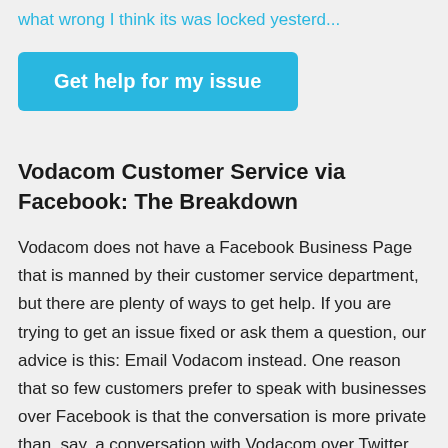what wrong I think its was locked yesterd...
Get help for my issue
Vodacom Customer Service via Facebook: The Breakdown
Vodacom does not have a Facebook Business Page that is manned by their customer service department, but there are plenty of ways to get help. If you are trying to get an issue fixed or ask them a question, our advice is this: Email Vodacom instead. One reason that so few customers prefer to speak with businesses over Facebook is that the conversation is more private than, say, a conversation with Vodacom over Twitter. And